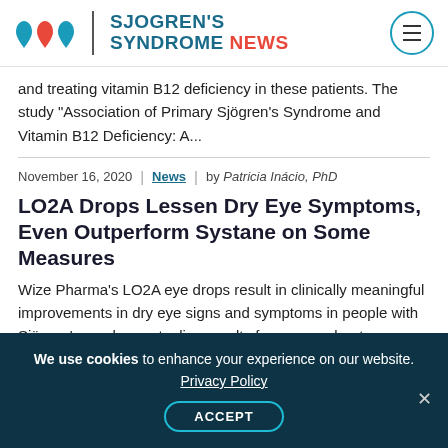[Figure (logo): Sjogren's Syndrome News logo with three drop icons (two blue, one red) and site name]
and treating vitamin B12 deficiency in these patients. The study “Association of Primary Sjögren’s Syndrome and Vitamin B12 Deficiency: A...
November 16, 2020 | News | by Patricia Inácio, PhD
LO2A Drops Lessen Dry Eye Symptoms, Even Outperform Systane on Some Measures
Wize Pharma’s LO2A eye drops result in clinically meaningful improvements in dry eye signs and symptoms in people with Sjögren’s syndrome, topline results from an exploratory Phase 4 trial
We use cookies to enhance your experience on our website. Privacy Policy ACCEPT